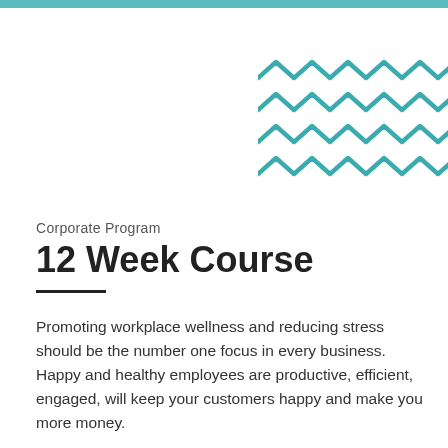[Figure (illustration): Teal/turquoise zigzag wave pattern decoration in the upper right area of the page]
Corporate Program
12 Week Course
Promoting workplace wellness and reducing stress should be the number one focus in every business. Happy and healthy employees are productive, efficient, engaged, will keep your customers happy and make you more money.
I partner with corporates to educate & coach their